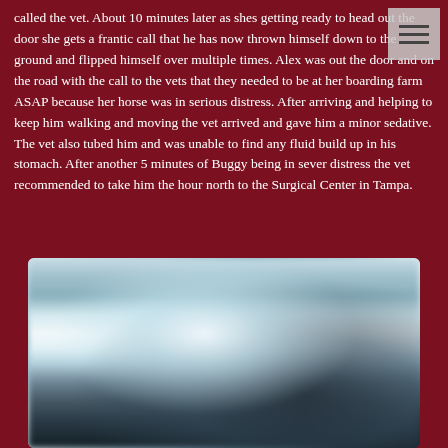called the vet. About 10 minutes later as shes getting ready to head out the door she gets a frantic call that he has now thrown himself down to the ground and flipped himself over multiple times. Alex was out the door and on the road with the call to the vets that they needed to be at her boarding farm ASAP because her horse was in serious distress. After arriving and helping to keep him walking and moving the vet arrived and gave him a minor sedative. The vet also tubed him and was unable to find any fluid build up in his stomach. After another 5 minutes of Buggy being in sever distress the vet recommended to take him the hour north to the Surgical Center in Tampa.
[Figure (photo): Blurred photograph, appears to show an interior space with light and dark areas, possibly a stable or medical facility.]